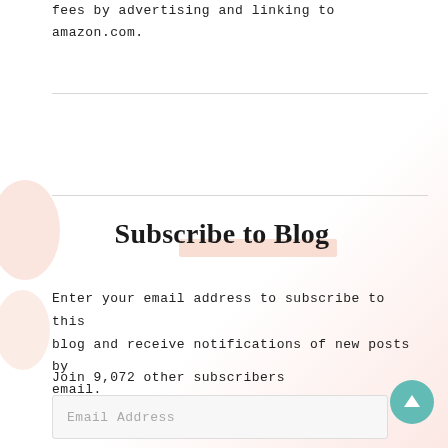fees by advertising and linking to amazon.com.
Subscribe to Blog
Enter your email address to subscribe to this blog and receive notifications of new posts by email.
Join 9,072 other subscribers
Email Address